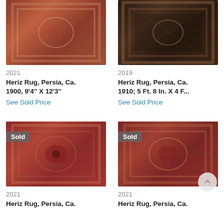[Figure (photo): Heriz Rug, Persia, Ca. 1900 - reddish-brown patterned rug]
2021
Heriz Rug, Persia, Ca. 1900, 9'4'' X 12'3''
See Sold Price
[Figure (photo): Heriz Rug, Persia, Ca. 1910 - dark background patterned rug]
2019
Heriz Rug, Persia, Ca. 1910; 5 Ft. 8 In. X 4 F...
See Sold Price
[Figure (photo): Heriz Rug, Persia, Ca. 2021 - with Sold badge, red medallion rug]
2021
Heriz Rug, Persia, Ca.
[Figure (photo): Heriz Rug, Persia, Ca. 2021 - with Sold badge, reddish floral rug]
2021
Heriz Rug, Persia, Ca.